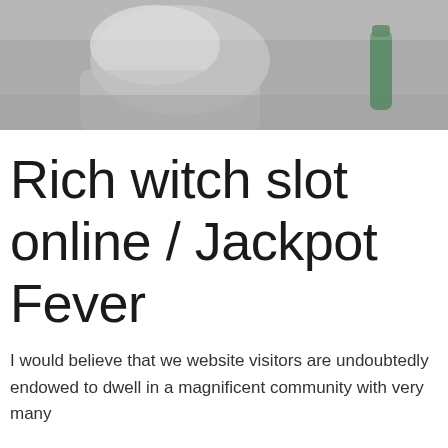[Figure (photo): Partial photo of a person sitting on a surface, wearing white clothing, with a green water bottle visible to the right. Image is cropped and appears in grayscale/muted tones.]
Rich witch slot online / Jackpot Fever
I would believe that we website visitors are undoubtedly endowed to dwell in a magnificent community with very many